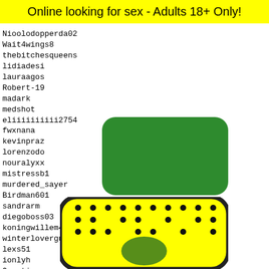Online looking for sex - Adults 18+ Only!
Nioolodopperda02
Wait4wings8
thebitchesqueens
lidiadesi...
lauraagos...
Robert-19...
madark
medshot
eliiiiiiiiii2754
fwxnana
kevinpraz...
lorenzodo...
nouralyxx...
mistressb1...
murdered_sayer
Birdman601
sandrarm
diegoboss03
koningwillem4
winterloverguy
lexs51
ionlyh...
Quenti...
iaaan9...
issam2...
sharon...
[Figure (other): Green button (no text)]
[Figure (other): Red EXIT button]
7 8 9 10 11
[Figure (illustration): Snapchat ghost logo on yellow background with black dots pattern]